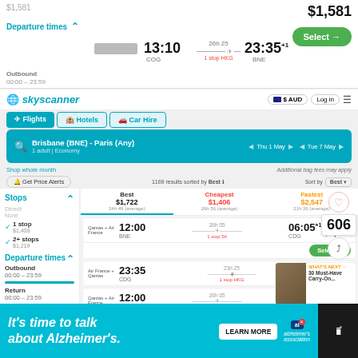[Figure (screenshot): Skyscanner flight search results page showing Brisbane (BNE) to Paris (Any) flights for 1 adult economy class. Top section shows a flight at 13:10 COG to 23:35+1 BNE for $1,581 with a Select button. Main section shows Skyscanner interface with tabs for Flights, Hotels, Car Hire, navigation controls, best/cheapest/fastest tabs showing prices $1,722/$1,406/$2,547, flight listings including Qantas+Air France and Air France+Qantas flights at various times. Left sidebar shows stop filters and departure times. Bottom section has social sharing overlay with 606 badge.]
$1,581
Departure times
Outbound 00:00 – 23:59
13:10 COG — 23:35+1 BNE 26h 25 1 stop HKG
[Figure (screenshot): Skyscanner logo and navigation header with AUD currency selector and Log in button]
skyscanner
$ AUD
Log in
✈ Flights  🏨 Hotels  🚗 Car Hire
Brisbane (BNE) - Paris (Any)  1 adult | Economy  Thu 1 May  Tue 7 May
Shop whole month  Additional bag fees may apply
🔔 Get Price Alerts  1169 results sorted by Best  Sort by: Best
Stops
Direct None  ✓ 1 stop $1,408  ✓ 2+ stops $1,219
Departure times  Outbound 00:00 – 23:59  Return 00:00 – 23:59
| Tab | Price | Duration |
| --- | --- | --- |
| Best | $1,722 | 24h 49 (average) |
| Cheapest | $1,406 | 26h 55 (average) |
| Fastest | $2,547 | 21h 26 (average) |
| Airline | Depart | Duration/Stops | Arrive | Price |
| --- | --- | --- | --- | --- |
| Qantas + Air France | 12:00 BNE | 26h 05 1 stop 5h | 06:05+1 CDG | 2 seats from $1,722 |
| Air France + Qantas | 23:35 CDG | 23h 25 1 stop HKG | 07:00+2 BNE | Select |
| Qantas + Air France | 12:00 BNE | 26h 05 1 stop 5h | 06:05+1 CDG | $1,692 |
| Air France + | 20:50 | 21h 11 | 06:05+2 | Select |
606
WHAT'S NEXT → 30 Must-Have Carry-On...
It's time to talk about Alzheimer's.
LEARN MORE
alzheimer's association